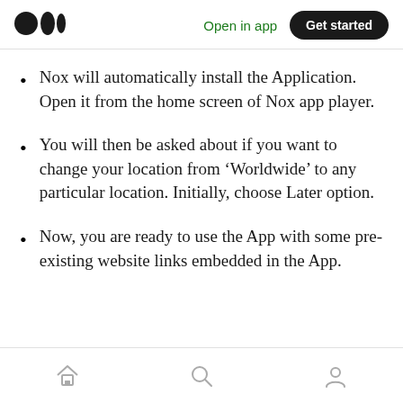Open in app  Get started
Nox will automatically install the Application. Open it from the home screen of Nox app player.
You will then be asked about if you want to change your location from ‘Worldwide’ to any particular location. Initially, choose Later option.
Now, you are ready to use the App with some pre-existing website links embedded in the App.
Home  Search  Profile